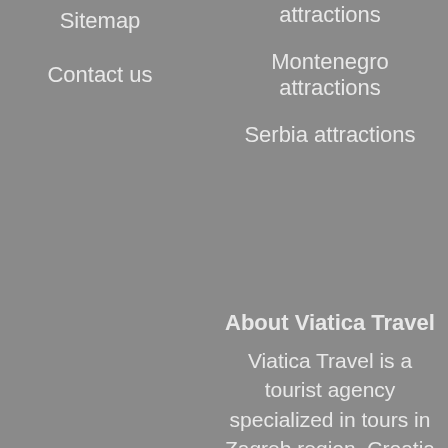Sitemap
Contact us
attractions
Montenegro attractions
Serbia attractions
About Viatica Travel
Viatica Travel is a tourist agency specialized in tours in Zagreb region, Croatia private day trips to